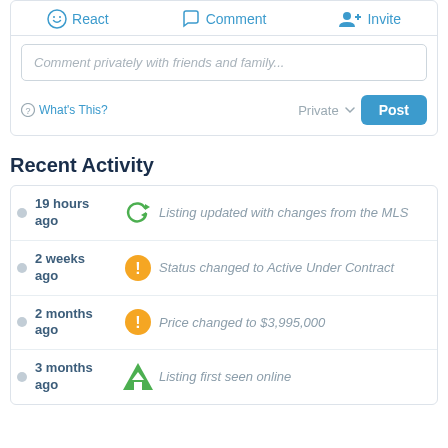[Figure (screenshot): Action bar with React, Comment, and Invite buttons]
Comment privately with friends and family...
What's This?  Private  Post
Recent Activity
19 hours ago — Listing updated with changes from the MLS
2 weeks ago — Status changed to Active Under Contract
2 months ago — Price changed to $3,995,000
3 months ago — Listing first seen online